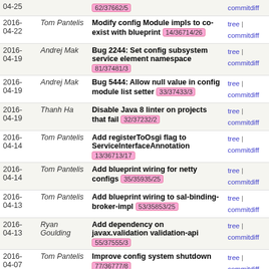| Date | Author | Message | Links |
| --- | --- | --- | --- |
| 2016-04-25 |  | 62/37662/5 | commitdiff |
| 2016-04-22 | Tom Pantelis | Modify config Module impls to co-exist with blueprint 14/36714/26 | tree | commitdiff |
| 2016-04-19 | Andrej Mak | Bug 2244: Set config subsystem service element namespace 81/37481/3 | tree | commitdiff |
| 2016-04-19 | Andrej Mak | Bug 5444: Allow null value in config module list setter 33/37433/3 | tree | commitdiff |
| 2016-04-19 | Thanh Ha | Disable Java 8 linter on projects that fail 32/37232/2 | tree | commitdiff |
| 2016-04-14 | Tom Pantelis | Add registerToOsgi flag to ServiceInterfaceAnnotation 13/36713/17 | tree | commitdiff |
| 2016-04-14 | Tom Pantelis | Add blueprint wiring for netty configs 35/35935/25 | tree | commitdiff |
| 2016-04-13 | Tom Pantelis | Add blueprint wiring to sal-binding-broker-impl 53/35853/25 | tree | commitdiff |
| 2016-04-13 | Ryan Goulding | Add dependency on javax.validation validation-api 55/37555/3 | tree | commitdiff |
| 2016-04-07 | Tom Pantelis | Improve config system shutdown 77/36777/8 | tree | commitdiff |
| 2016-04-01 | Kevin Wang | Make config-it-base capable of accepting additional... 23/36923/6 | tree | commitdiff |
| 2016-03-31 | Tom Pantelis | Modify AbstractConfigTestBase to use opendaylight-karaf... 76/36776/9 | tree | commitdiff |
| 2016-03-30 | Tom Pantelis | Bug 5625: Fix OutOfMemoryError in YangStoreSnapshot 86/36886/2 | tree | commitdiff |